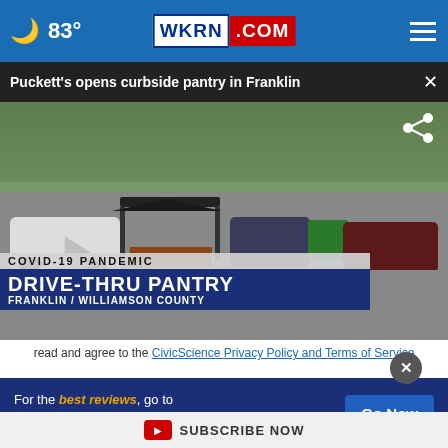🌙 83° | WKRN.COM
Puckett's opens curbside pantry in Franklin
[Figure (screenshot): Video screenshot of a drive-thru pantry in a parking lot with cars and a tent canopy. Lower-third graphic reads: COVID-19 PANDEMIC / DRIVE-THRU PANTRY / FRANKLIN / WILLIAMSON COUNTY]
read and agree to the CivicScience Privacy Policy and Terms of Service
[Figure (screenshot): Advertisement banner: For the best reviews, go to BESTREVIEWS with a Go Now button]
SUBSCRIBE NOW